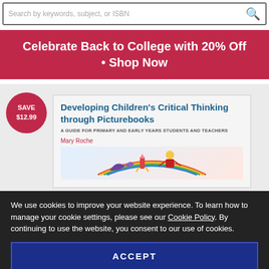Search by keywords, subject, or ISBN
Celebrate Back to College with 20% Off • Shop Now
[Figure (photo): Book cover: Developing Children's Critical Thinking through Picturebooks by Mary Roche, with a save badge showing SAVE $12.99]
We use cookies to improve your website experience. To learn how to manage your cookie settings, please see our Cookie Policy. By continuing to use the website, you consent to our use of cookies.
ACCEPT